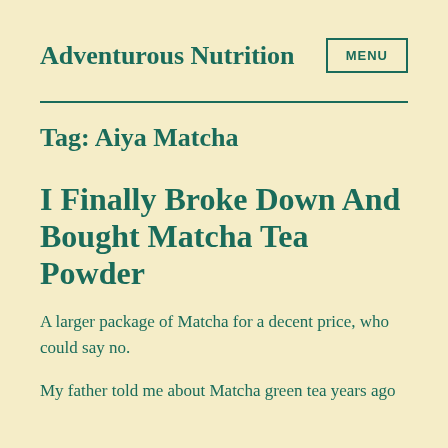Adventurous Nutrition
Tag: Aiya Matcha
I Finally Broke Down And Bought Matcha Tea Powder
A larger package of Matcha for a decent price, who could say no.
My father told me about Matcha green tea years ago